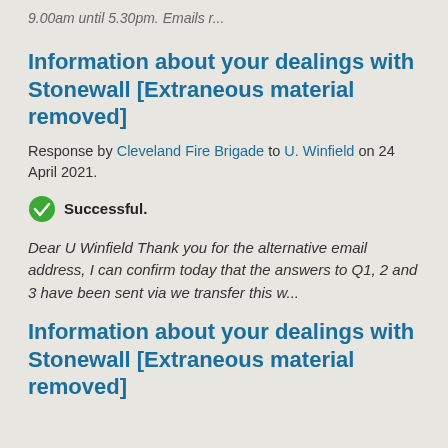9.00am until 5.30pm. Emails r...
Information about your dealings with Stonewall [Extraneous material removed]
Response by Cleveland Fire Brigade to U. Winfield on 24 April 2021.
Successful.
Dear U Winfield Thank you for the alternative email address, I can confirm today that the answers to Q1, 2 and 3 have been sent via we transfer this w...
Information about your dealings with Stonewall [Extraneous material removed]